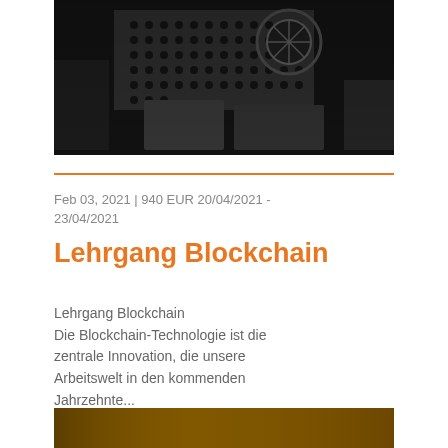[Figure (photo): Black and white close-up photo of mechanical/industrial equipment, showing gears, perforated metal panels, and circular components]
Feb 03, 2021 | 940 EUR 20/04/2021 - 23/04/2021
Lehrgang Blockchain
Lehrgang Blockchain
Die Blockchain-Technologie ist die zentrale Innovation, die unsere Arbeitswelt in den kommenden Jahrzehnte...
[Figure (photo): Partial view of a brownish-gold colored image at the bottom of the page]